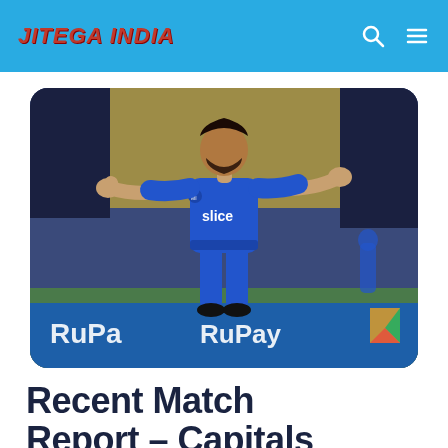JITEGA INDIA
[Figure (photo): A cricket player in a blue Mumbai Indians jersey (with 'slice' sponsor) standing on a cricket ground with arms outstretched, with RuPay advertising boards visible in the background.]
Recent Match Report – Capitals vs Mumbai 2024